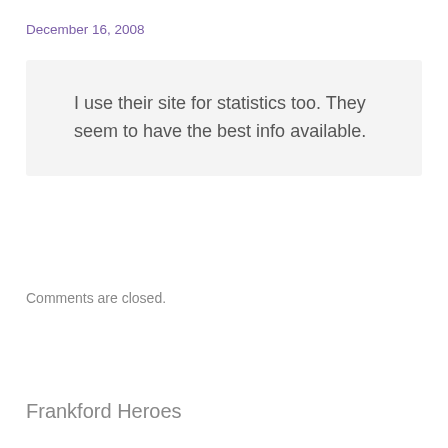December 16, 2008
I use their site for statistics too. They seem to have the best info available.
Comments are closed.
Frankford Heroes